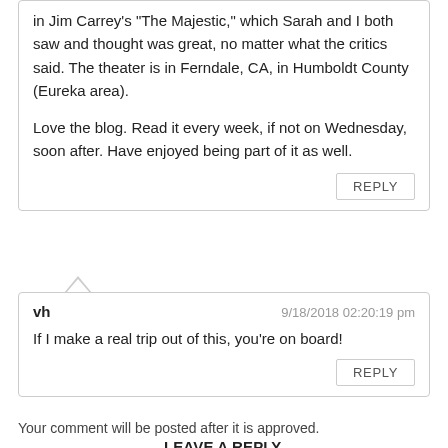in Jim Carrey's "The Majestic," which Sarah and I both saw and thought was great, no matter what the critics said. The theater is in Ferndale, CA, in Humboldt County (Eureka area).
Love the blog. Read it every week, if not on Wednesday, soon after. Have enjoyed being part of it as well.
REPLY
vh
9/18/2018 02:20:19 pm
If I make a real trip out of this, you're on board!
REPLY
Your comment will be posted after it is approved.
LEAVE A REPLY.
Name (required)
Email (not published)